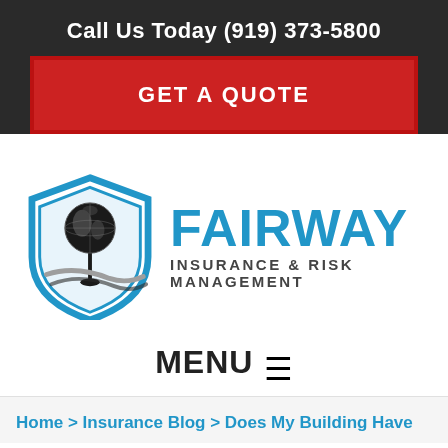Call Us Today (919) 373-5800
GET A QUOTE
[Figure (logo): Fairway Insurance & Risk Management logo: shield with globe and golf tee graphic, company name in blue text]
MENU
Home > Insurance Blog > Does My Building Have